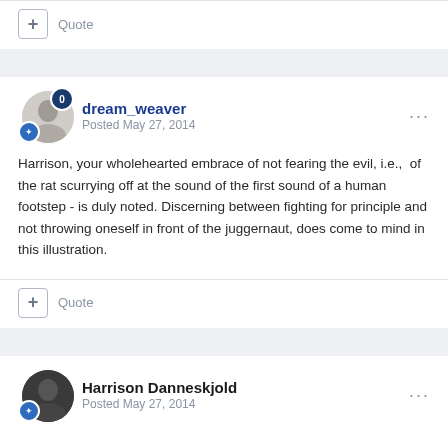+ Quote
dream_weaver
Posted May 27, 2014
Harrison, your wholehearted embrace of not fearing the evil, i.e., of the rat scurrying off at the sound of the first sound of a human footstep - is duly noted. Discerning between fighting for principle and not throwing oneself in front of the juggernaut, does come to mind in this illustration.
+ Quote
Harrison Danneskjold
Posted May 27, 2014